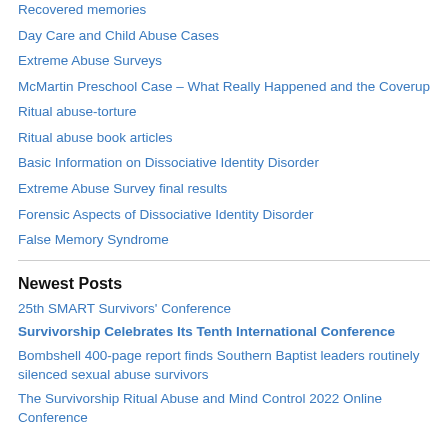Recovered memories
Day Care and Child Abuse Cases
Extreme Abuse Surveys
McMartin Preschool Case – What Really Happened and the Coverup
Ritual abuse-torture
Ritual abuse book articles
Basic Information on Dissociative Identity Disorder
Extreme Abuse Survey final results
Forensic Aspects of Dissociative Identity Disorder
False Memory Syndrome
Newest Posts
25th SMART Survivors' Conference
Survivorship Celebrates Its Tenth International Conference
Bombshell 400-page report finds Southern Baptist leaders routinely silenced sexual abuse survivors
The Survivorship Ritual Abuse and Mind Control 2022 Online Conference